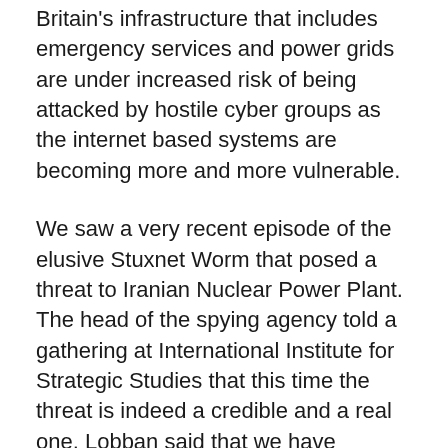Britain's infrastructure that includes emergency services and power grids are under increased risk of being attacked by hostile cyber groups as the internet based systems are becoming more and more vulnerable.
We saw a very recent episode of the elusive Stuxnet Worm that posed a threat to Iranian Nuclear Power Plant. The head of the spying agency told a gathering at International Institute for Strategic Studies that this time the threat is indeed a credible and a real one. Lobban said that we have already provided an expert advice to all the operators of these kinds of services whose system relies on running through internet systems.